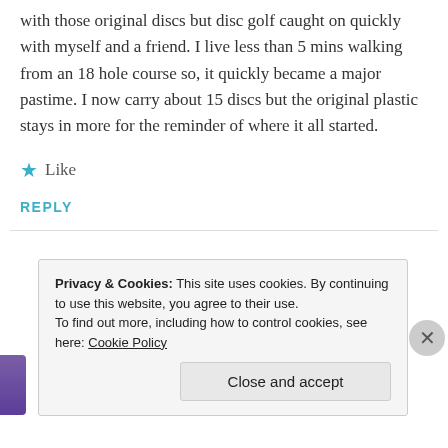with those original discs but disc golf caught on quickly with myself and a friend. I live less than 5 mins walking from an 18 hole course so, it quickly became a major pastime. I now carry about 15 discs but the original plastic stays in more for the reminder of where it all started.
★ Like
REPLY
Privacy & Cookies: This site uses cookies. By continuing to use this website, you agree to their use. To find out more, including how to control cookies, see here: Cookie Policy
Close and accept